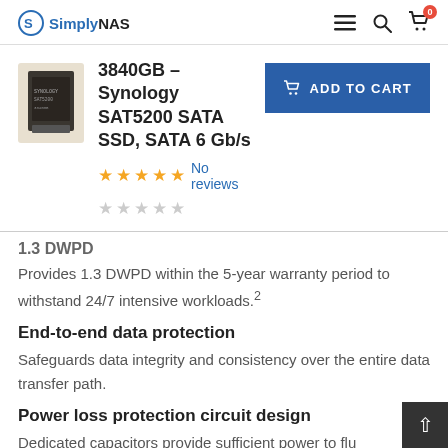SimplyNAS
3840GB – Synology SAT5200 SATA SSD, SATA 6 Gb/s
No reviews
1.3 DWPD
Provides 1.3 DWPD within the 5-year warranty period to withstand 24/7 intensive workloads.²
End-to-end data protection
Safeguards data integrity and consistency over the entire data transfer path.
Power loss protection circuit design
Dedicated capacitors provide sufficient power to flu